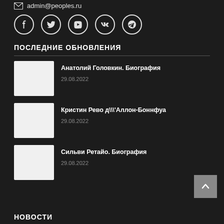admin@peoples.ru
[Figure (other): Social media icons: Facebook, Twitter, YouTube, VK, Telegram - circular outlined icons on dark background]
ПОСЛЕДНИЕ ОБНОВЛЕНИЯ
Анатолий Головкин. Биография — 29.08.2022
Кристин Рево д\\'Аллон-Боннфуа — 29.08.2022
Сильви Ретайо. Биография — 29.08.2022
НОВОСТИ